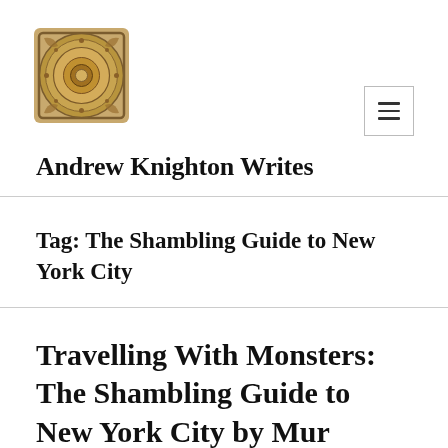[Figure (illustration): Decorative circular mandala/clock image used as site logo for Andrew Knighton Writes]
Andrew Knighton Writes
Tag: The Shambling Guide to New York City
Travelling With Monsters: The Shambling Guide to New York City by Mur Lafferty